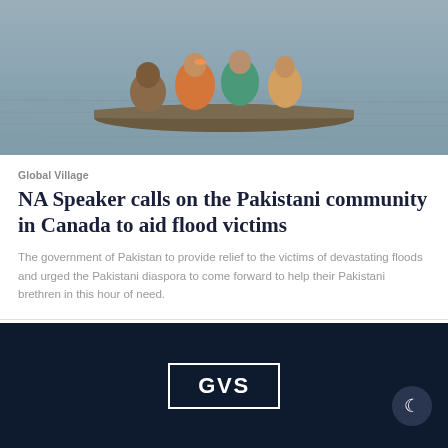[Figure (photo): People in a boat on floodwater, several people visible including a man in the foreground and colorfully dressed individuals behind him]
Global Village
NA Speaker calls on the Pakistani community in Canada to aid flood victims
The government of Pakistan to provide relief to the victims of devastating floods and urged the Pakistani diaspora to come forward to help their Pakistani brethren in this hour of need.
[Figure (logo): GVS logo — white text 'GVS' inside a white rectangular border on a dark navy background]